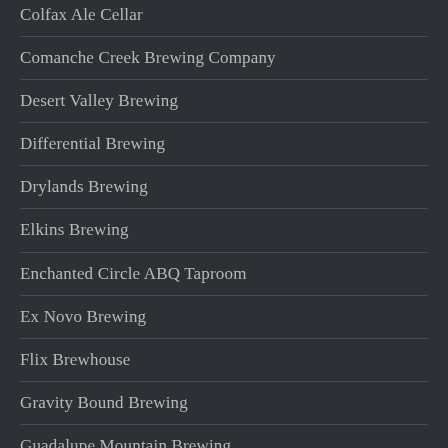Colfax Ale Cellar
Comanche Creek Brewing Company
Desert Valley Brewing
Differential Brewing
Drylands Brewing
Elkins Brewing
Enchanted Circle ABQ Taproom
Ex Novo Brewing
Flix Brewhouse
Gravity Bound Brewing
Guadalupe Mountain Brewing
Harmon Lane Brewing at Southwest Growers